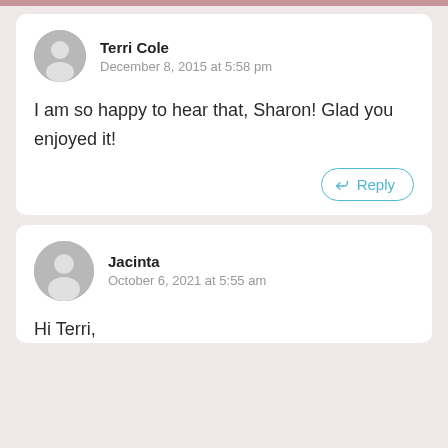Terri Cole
December 8, 2015 at 5:58 pm
I am so happy to hear that, Sharon! Glad you enjoyed it!
Reply
Jacinta
October 6, 2021 at 5:55 am
Hi Terri,